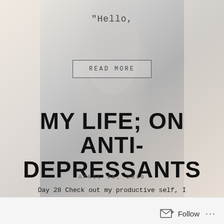[Figure (photo): Background photo of a person's back wearing a light gray long-sleeve shirt, muted/desaturated tone serving as background for blog post preview]
“Hello,
READ MORE
MY LIFE; ON ANTI-DEPRESSANTS
APRIL 25, 2016
Day 28 Check out my productive self, I finished editing one of my podcast episodes. I took me a long time but now I think I’ve
Follow ...